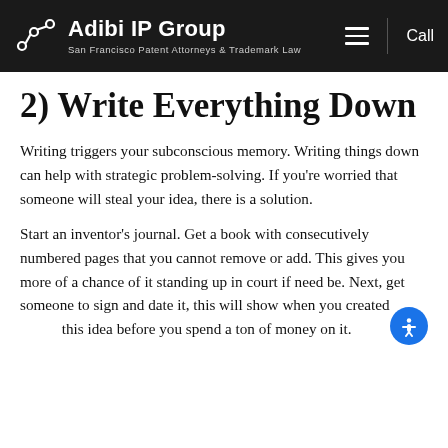Adibi IP Group — San Francisco Patent Attorneys & Trademark Law
2) Write Everything Down
Writing triggers your subconscious memory. Writing things down can help with strategic problem-solving. If you're worried that someone will steal your idea, there is a solution.
Start an inventor's journal. Get a book with consecutively numbered pages that you cannot remove or add. This gives you more of a chance of it standing up in court if need be. Next, get someone to sign and date it, this will show when you created this idea before you spend a ton of money on it.